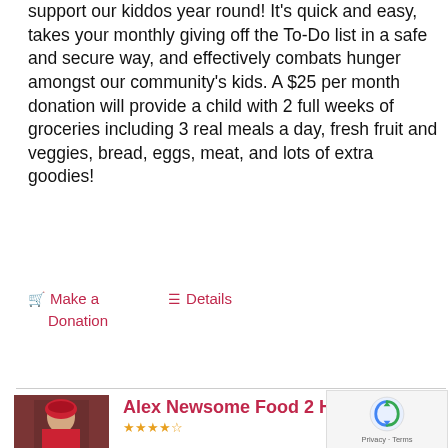support our kiddos year round! It's quick and easy, takes your monthly giving off the To-Do list in a safe and secure way, and effectively combats hunger amongst our community's kids. A $25 per month donation will provide a child with 2 full weeks of groceries including 3 real meals a day, fresh fruit and veggies, bread, eggs, meat, and lots of extra goodies!
Make a Donation
Details
Alex Newsome Food 2 Help